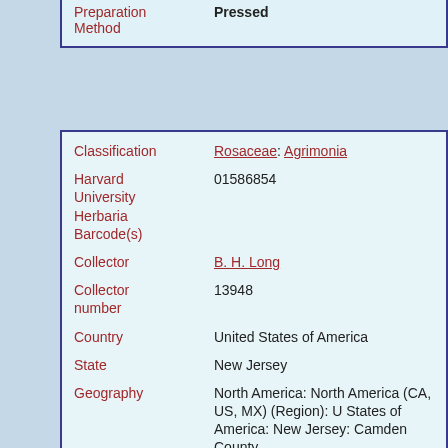| Field | Value |
| --- | --- |
| Preparation Method | Pressed |
| Classification | Rosaceae: Agrimonia |
| Harvard University Herbaria Barcode(s) | 01586854 |
| Collector | B. H. Long |
| Collector number | 13948 |
| Country | United States of America |
| State | New Jersey |
| Geography | North America: North America (CA, US, MX) (Region): United States of America: New Jersey: Camden County |
| Locality | w. along Peter Creek Oaklyn |
| Date Collected | 1915-10-19 |
| Habitat | moist, loamy woods |
| Container | Southern New Jersey |